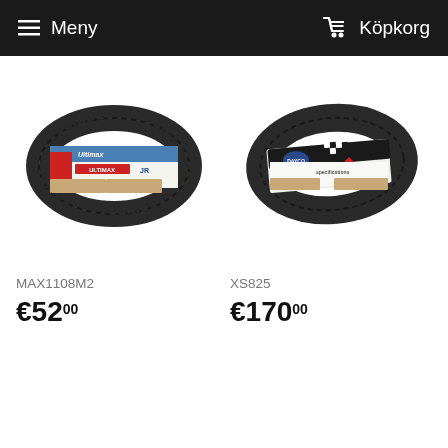Meny   Köpkorg
[Figure (photo): Drive belt product photo - MAX1108M2, Ultimax brand, black V-belt with blue/white packaging label]
MAX1108M2
€52,00
[Figure (photo): Drive belt product photo - XS825, black V-belt with black/white checkered racing-style packaging label]
XS825
€170,00